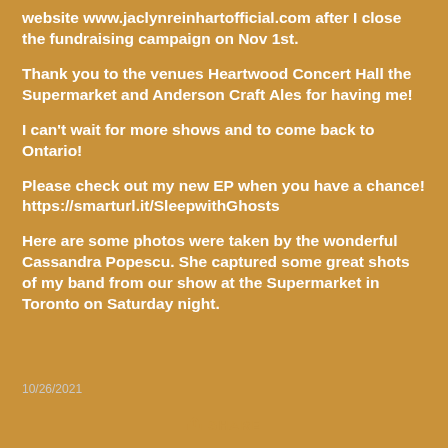website www.jaclynreinhartofficial.com after I close the fundraising campaign on Nov 1st.
Thank you to the venues Heartwood Concert Hall the Supermarket and Anderson Craft Ales for having me!
I can't wait for more shows and to come back to Ontario!
Please check out my new EP when you have a chance! https://smarturl.it/SleepwithGhosts
Here are some photos were taken by the wonderful Cassandra Popescu. She captured some great shots of my band from our show at the Supermarket in Toronto on Saturday night.
10/26/2021
SHARE